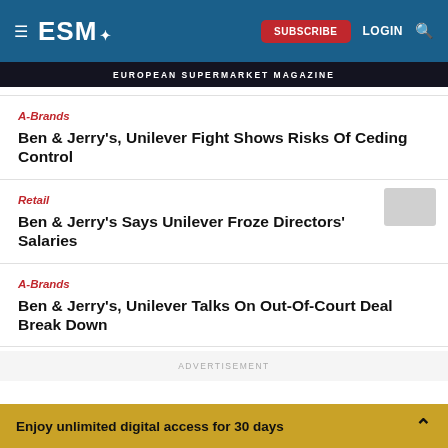ESM — European Supermarket Magazine | SUBSCRIBE | LOGIN
EUROPEAN SUPERMARKET MAGAZINE
A-Brands
Ben & Jerry's, Unilever Fight Shows Risks Of Ceding Control
Retail
Ben & Jerry's Says Unilever Froze Directors' Salaries
A-Brands
Ben & Jerry's, Unilever Talks On Out-Of-Court Deal Break Down
ADVERTISEMENT
Enjoy unlimited digital access for 30 days